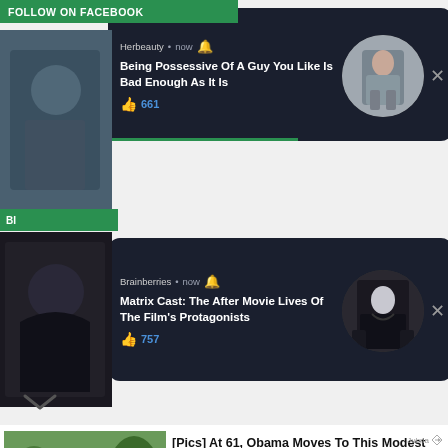FOLLOW ON FACEBOOK
[Figure (screenshot): Herbeauty Facebook push notification: 'Being Possessive Of A Guy You Like Is Bad Enough As It Is' with 661 likes and circular thumbnail of a woman in grey outfit]
[Figure (screenshot): Brainberries Facebook push notification: 'Matrix Cast: The After Movie Lives Of The Film's Protagonists' with 757 likes and circular thumbnail of a person in black outfit]
[Figure (photo): Photo of Obama with family outdoors]
[Pics] At 61, Obama Moves To This Modest House, Look Inside!
BuzzAura | Sponsored
[Figure (photo): SI Tickets advertisement showing football player with $10 flat fee offer]
We Found the Cheapest Tickets
SI Tickets | Sponsored
Jubna